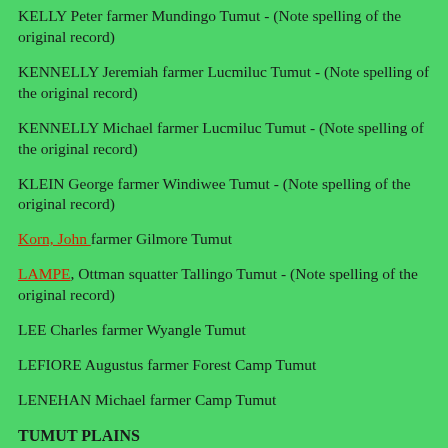KELLY Peter farmer Mundingo Tumut - (Note spelling of the original record)
KENNELLY Jeremiah farmer Lucmiluc Tumut - (Note spelling of the original record)
KENNELLY Michael farmer Lucmiluc Tumut - (Note spelling of the original record)
KLEIN George farmer Windiwee Tumut - (Note spelling of the original record)
Korn, John farmer Gilmore Tumut
LAMPE, Ottman squatter Tallingo Tumut - (Note spelling of the original record)
LEE Charles farmer Wyangle Tumut
LEFIORE Augustus farmer Forest Camp Tumut
LENEHAN Michael farmer Camp Tumut
TUMUT PLAINS
ADAMS, William farmer Tumut Plains Tumut